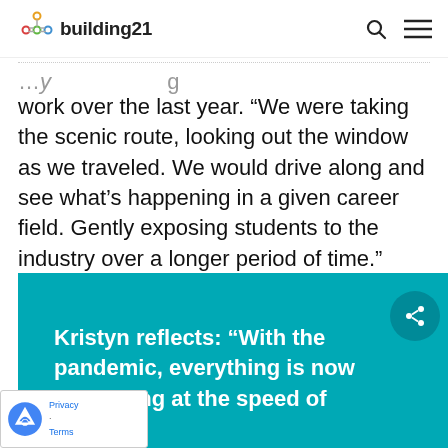building21
work over the last year. “We were taking the scenic route, looking out the window as we traveled. We would drive along and see what’s happening in a given career field. Gently exposing students to the industry over a longer period of time.”
And now, through technology and access, Kristyn is making it possible for her students to travel faster.
Kristyn reflects: “With the pandemic, everything is now happening at the speed of